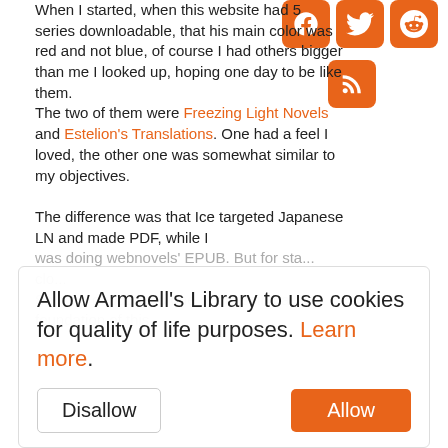When I started, when this website had 5 series downloadable, that his main color was red and not blue, of course I had others bigger than me I looked up, hoping one day to be like them.
The two of them were Freezing Light Novels and Estelion's Translations. One had a feel I loved, the other one was somewhat similar to my objectives.

The difference was that Ice targeted Japanese LN and made PDF, while I was doing webnovels' EPUB. But for sta... clo...
So it's... goodbye to one of the spiritual foundation of this...
[Figure (other): Social media icons: Facebook, Twitter, Reddit (row), then RSS icon below]
Allow Armaell's Library to use cookies for quality of life purposes. Learn more. [Cookie consent banner with Disallow and Allow buttons]